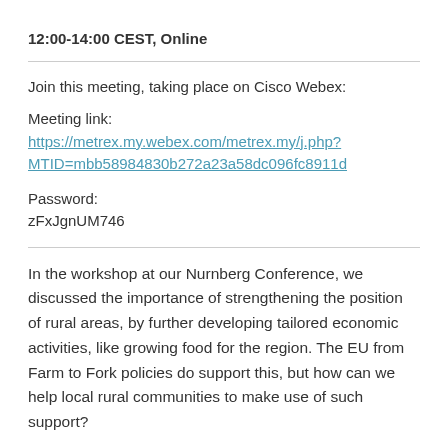12:00-14:00 CEST, Online
Join this meeting, taking place on Cisco Webex:
Meeting link:
https://metrex.my.webex.com/metrex.my/j.php?MTID=mbb58984830b272a23a58dc096fc8911d
Password:
zFxJgnUM746
In the workshop at our Nurnberg Conference, we discussed the importance of strengthening the position of rural areas, by further developing tailored economic activities, like growing food for the region. The EU from Farm to Fork policies do support this, but how can we help local rural communities to make use of such support?